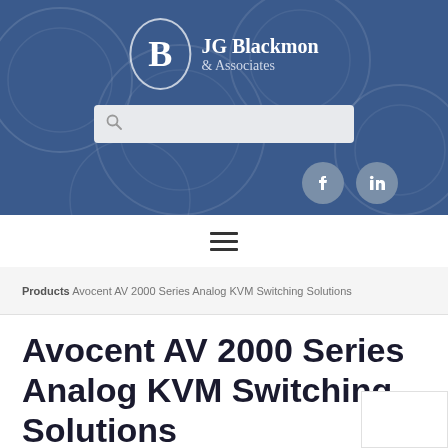[Figure (logo): JG Blackmon & Associates logo: oval with letter B and company name]
[Figure (screenshot): Search bar with magnifying glass icon on blue header background]
[Figure (infographic): Social media icons: Facebook and LinkedIn circular buttons]
[Figure (infographic): Hamburger menu icon (three horizontal lines)]
Products Avocent AV 2000 Series Analog KVM Switching Solutions
Avocent AV 2000 Series Analog KVM Switching Solutions